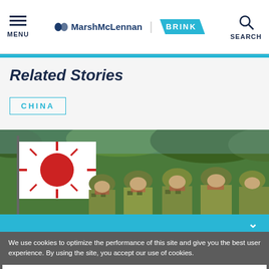MarshMcLennan BRINK — MENU | SEARCH
Related Stories
CHINA
[Figure (photo): Japanese Self-Defense Force soldiers marching with the Rising Sun flag, wearing camouflage uniforms and helmets, with trees in the background.]
We use cookies to optimize the performance of this site and give you the best user experience. By using the site, you accept our use of cookies.
Okay
Manage Cookies